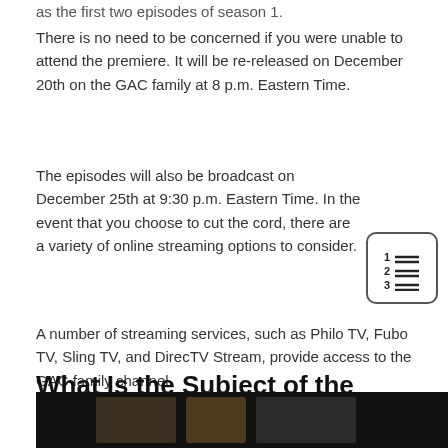as the first two episodes of season 1.
There is no need to be concerned if you were unable to attend the premiere. It will be re-released on December 20th on the GAC family at 8 p.m. Eastern Time.
The episodes will also be broadcast on December 25th at 9:30 p.m. Eastern Time. In the event that you choose to cut the cord, there are a variety of online streaming options to consider.
A number of streaming services, such as Philo TV, Fubo TV, Sling TV, and DirecTV Stream, provide access to the GAC family channel.
What Is the Subject of the Show?
[Figure (photo): Bottom portion of a photo, partially visible, dark background with figures]